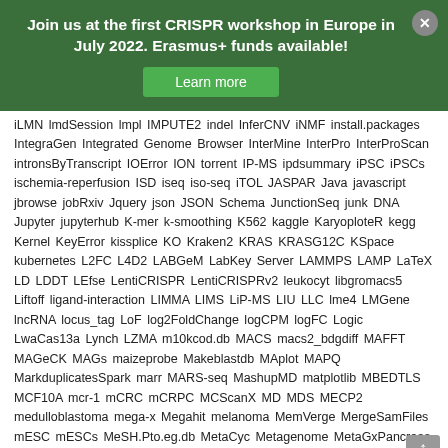Join us at the first CRISPR workshop in Europe in July 2022. Erasmus+ funds available!
Learn more
iLMN lmdSession lmpl IMPUTE2 indel InferCNV iNMF install.packages IntegraGen Integrated Genome Browser InterMine InterPro InterProScan intronsByTranscript IOError ION torrent IP-MS ipdsummary iPSC iPSCs ischemia-reperfusion ISD iseq iso-seq iTOL JASPAR Java javascript jbrowse jobRxiv Jquery json JSON Schema JunctionSeq junk DNA Jupyter jupyterhub K-mer k-smoothing K562 kaggle KaryoploteR kegg Kernel KeyError kissplice KO Kraken2 KRAS KRASG12C KSpace kubernetes L2FC L4D2 LABGeM LabKey Server LAMMPS LAMP LaTeX LD LDDT LEfse LentiCRISPR LentiCRISPRv2 leukocyt libgromacs5 Liftoff ligand-interaction LIMMA LIMS LiP-MS LIU LLC lme4 LMGene lncRNA locus_tag LoF log2FoldChange logCPM logFC Logic LwaCas13a Lynch LZMA m10kcod.db MACS macs2_bdgdiff MAFFT MAGeCK MAGs maizeprobe Makeblastdb MAplot MAPQ MarkduplicatesSpark marr MARS-seq MashupMD matplotlib MBEDTLS MCF10A mcr-1 mCRC mCRPC MCScanX MD MDS MECP2 medulloblastoma mega-x Megahit melanoma MemVerge MergeSamFiles mESC mESCs MeSH.Pto.eg.db MetaCyc Metagenome MetaGxPancreas MetaPhlAn2 MetaProdigal metawrap METHRED MethylationEPIC